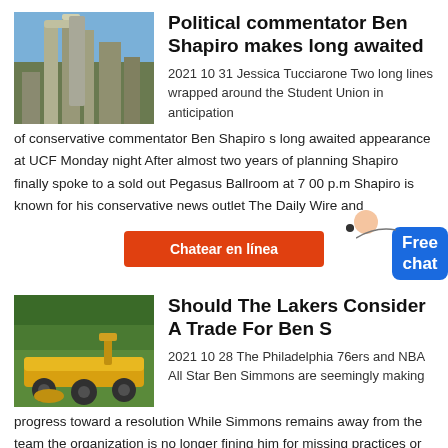[Figure (photo): Industrial facility with silos and structures against blue sky]
Political commentator Ben Shapiro makes long awaited
2021 10 31 Jessica Tucciarone Two long lines wrapped around the Student Union in anticipation of conservative commentator Ben Shapiro s long awaited appearance at UCF Monday night After almost two years of planning Shapiro finally spoke to a sold out Pegasus Ballroom at 7 00 p.m Shapiro is known for his conservative news outlet The Daily Wire and
[Figure (illustration): Chat support person with headset and Free chat badge]
Chatear en línea
[Figure (photo): Yellow heavy machinery / road paving equipment in wooded area]
Should The Lakers Consider A Trade For Ben S
2021 10 28 The Philadelphia 76ers and NBA All Star Ben Simmons are seemingly making progress toward a resolution While Simmons remains away from the team the organization is no longer fining him for missing practices or games as he is seeking help to mentally prepare himself to return to the court and for his lower back ailment.
Chatear en línea